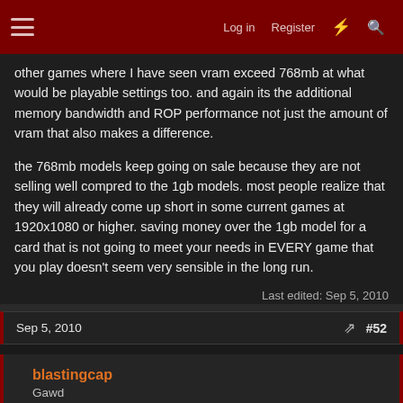Log in  Register  #52
other games where I have seen vram exceed 768mb at what would be playable settings too. and again its the additional memory bandwidth and ROP performance not just the amount of vram that also makes a difference.

the 768mb models keep going on sale because they are not selling well compred to the 1gb models. most people realize that they will already come up short in some current games at 1920x1080 or higher. saving money over the 1gb model for a card that is not going to meet your needs in EVERY game that you play doesn't seem very sensible in the long run.
Last edited: Sep 5, 2010
Sep 5, 2010
#52
blastingcap
Gawd